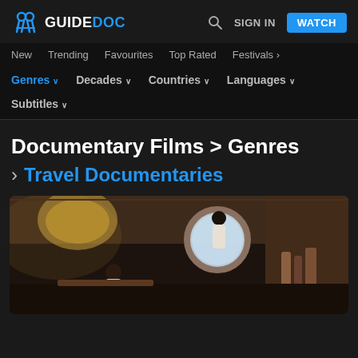GUIDEDOC — Search | SIGN IN | WATCH
New  Trending  Favourites  Top Rated  Festivals
Genres  Decades  Countries  Languages
Subtitles
Documentary Films > Genres
> Travel Documentaries
[Figure (photo): Interior of a luxury airplane cabin with two people near a circular porthole window, warm ambient lighting, wood paneling and premium furnishings visible]